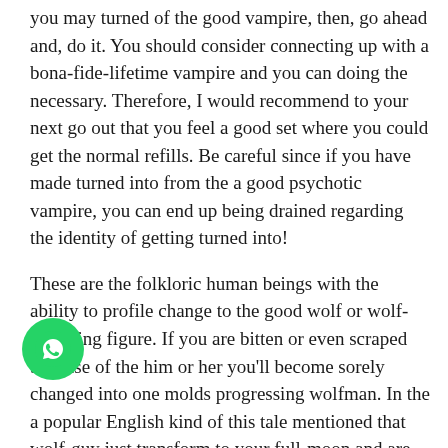you may turned of the good vampire, then, go ahead and, do it. You should consider connecting up with a bona-fide-lifetime vampire and you can doing the necessary. Therefore, I would recommend to your next go out that you feel a good set where you could get the normal refills. Be careful since if you have made turned into from the a good psychotic vampire, you can end up being drained regarding the identity of getting turned into!
These are the folkloric human beings with the ability to profile change to the good wolf or wolf-including figure. If you are bitten or even scraped because of the him or her you'll become sorely changed into one molds progressing wolfman. In the a popular English kind of this tale mentioned that wolf-guy just transform to your full-moon and are also resistant to almost any of firearm except for those individuals produced by gold. werewolf ranked 3rd within listing of preferred mythical creatures. Some thing is normal within these animals that they
[Figure (illustration): WhatsApp floating action button - green circle with WhatsApp phone/chat icon]